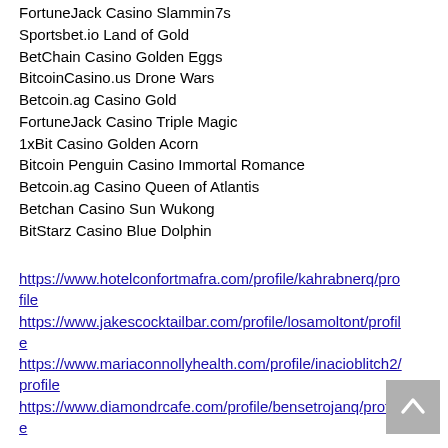FortuneJack Casino Slammin7s
Sportsbet.io Land of Gold
BetChain Casino Golden Eggs
BitcoinCasino.us Drone Wars
Betcoin.ag Casino Gold
FortuneJack Casino Triple Magic
1xBit Casino Golden Acorn
Bitcoin Penguin Casino Immortal Romance
Betcoin.ag Casino Queen of Atlantis
Betchan Casino Sun Wukong
BitStarz Casino Blue Dolphin
https://www.hotelconfortmafra.com/profile/kahrabnerq/profile
https://www.jakescocktailbar.com/profile/losamoltont/profile
https://www.mariaconnollyhealth.com/profile/inacioblitch2/profile
https://www.diamondrcafe.com/profile/bensetrojanq/profile